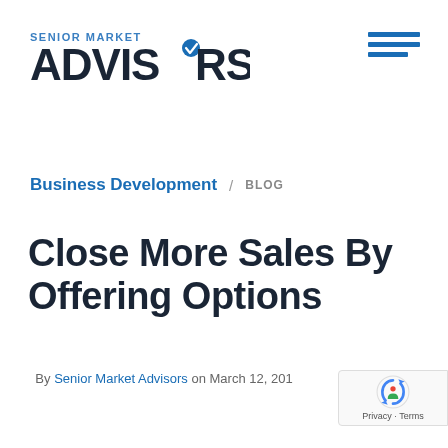[Figure (logo): Senior Market Advisors logo with blue text and checkmark]
[Figure (other): Hamburger menu icon with three horizontal blue lines]
Business Development / BLOG
Close More Sales By Offering Options
By Senior Market Advisors on March 12, 201
[Figure (other): Google reCAPTCHA badge showing Privacy and Terms]